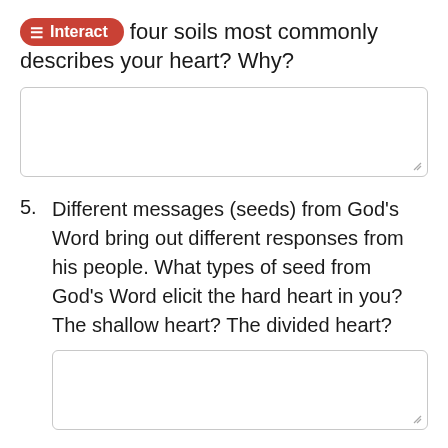Interact four soils most commonly describes your heart? Why?
[Figure (other): Empty text input box for user response]
5. Different messages (seeds) from God's Word bring out different responses from his people. What types of seed from God's Word elicit the hard heart in you? The shallow heart? The divided heart?
[Figure (other): Empty text input box for user response]